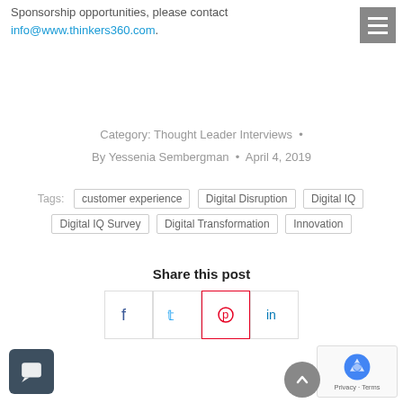Sponsorship opportunities, please contact info@www.thinkers360.com.
Category: Thought Leader Interviews • By Yessenia Sembergman • April 4, 2019
Tags: customer experience | Digital Disruption | Digital IQ | Digital IQ Survey | Digital Transformation | Innovation
Share this post
[Figure (infographic): Share buttons for Facebook, Twitter, Pinterest, LinkedIn]
[Figure (infographic): Chat widget button (dark grey square with speech bubble icon) and reCAPTCHA box with Privacy and Terms links]